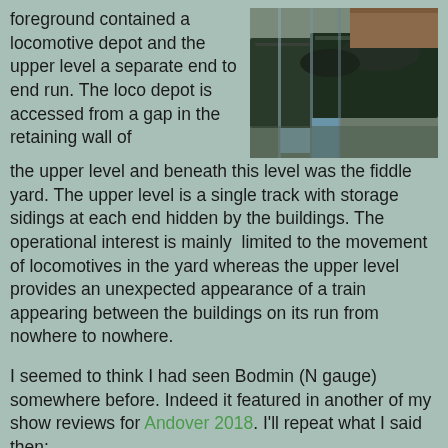foreground contained a locomotive depot and the upper level a separate end to end run. The loco depot is accessed from a gap in the retaining wall of the upper level and beneath this level was the fiddle yard. The upper level is a single track with storage sidings at each end hidden by the buildings. The operational interest is mainly limited to the movement of locomotives in the yard whereas the upper level provides an unexpected appearance of a train appearing between the buildings on its run from nowhere to nowhere.
[Figure (photo): Aerial/overhead photograph of railway locomotives on tracks, showing dark green steam engines viewed from above]
I seemed to think I had seen Bodmin (N gauge) somewhere before. Indeed it featured in another of my show reviews for Andover 2018. I'll repeat what I said then:
"Bodmin (N gauge) struck a chord with me as I visited the prototype. I remembered walking along the platform, chatting to the signalman at his box about the T9 languishing in the shed a little further down the yard. Now with a helicopter